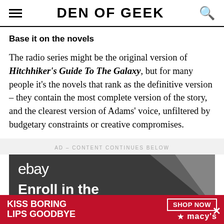DEN OF GEEK
Base it on the novels
The radio series might be the original version of Hitchhiker's Guide To The Galaxy, but for many people it's the novels that rank as the definitive version – they contain the most complete version of the story, and the clearest version of Adams' voice, unfiltered by budgetary constraints or creative compromises.
AD – CONTENT CONTINUES BELOW
[Figure (photo): eBay advertisement showing 'Enroll in the' text with diagonal graphic element]
[Figure (photo): Macy's bottom ad bar: 'KISS BORING LIPS GOODBYE' with 'SHOP NOW' button and Macy's star logo]